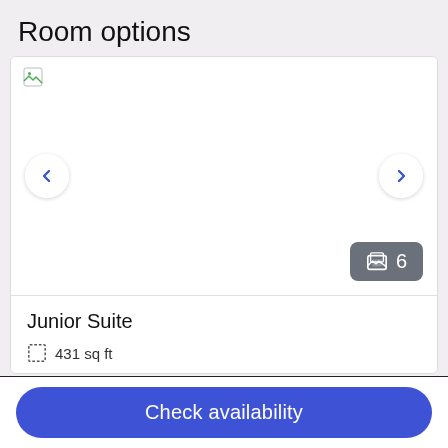Room options
[Figure (photo): Broken/placeholder image for Junior Suite hotel room carousel with navigation arrows and a photo count badge showing 6 photos]
Junior Suite
431 sq ft
Check availability